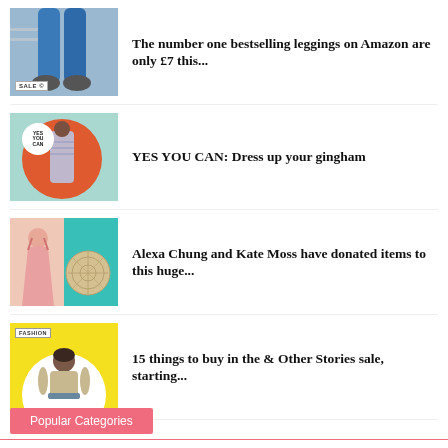[Figure (photo): Thumbnail image of person wearing blue leggings with SALE badge]
The number one bestselling leggings on Amazon are only £7 this...
[Figure (photo): YES YOU CAN badge over orange circle with woman in gingham dress on teal background]
YES YOU CAN: Dress up your gingham
[Figure (photo): Pink dress and straw bag on yellow and teal background]
Alexa Chung and Kate Moss have donated items to this huge...
[Figure (photo): FASHION label with woman in beige top on yellow background with white circle]
15 things to buy in the & Other Stories sale, starting...
Popular Categories